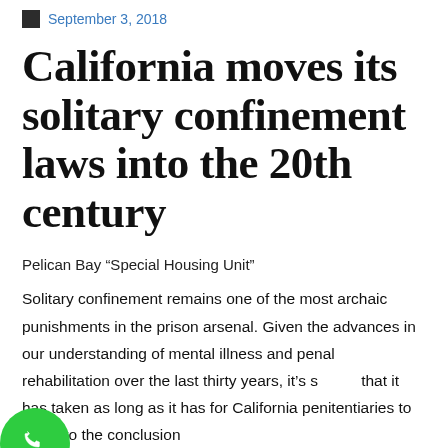September 3, 2018
California moves its solitary confinement laws into the 20th century
Pelican Bay “Special Housing Unit”
Solitary confinement remains one of the most archaic punishments in the prison arsenal. Given the advances in our understanding of mental illness and penal rehabilitation over the last thirty years, it’s s that it has taken as long as it has for California penitentiaries to come to the conclusion